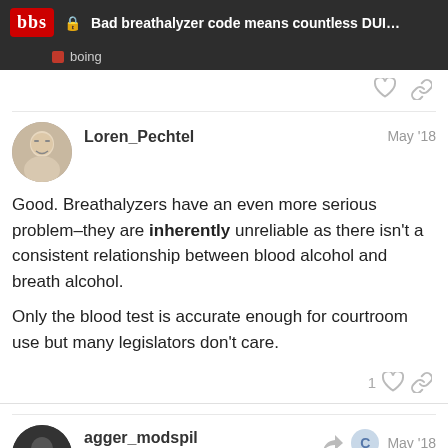Bad breathalyzer code means countless DUI... — boing
Loren_Pechtel — May '18
Good. Breathalyzers have an even more serious problem–they are inherently unreliable as there isn't a consistent relationship between blood alcohol and breath alcohol.

Only the blood test is accurate enough for courtroom use but many legislators don't care.
agger_modspil — BBS Captain — May '18
The analysis is done by gas chromatograp